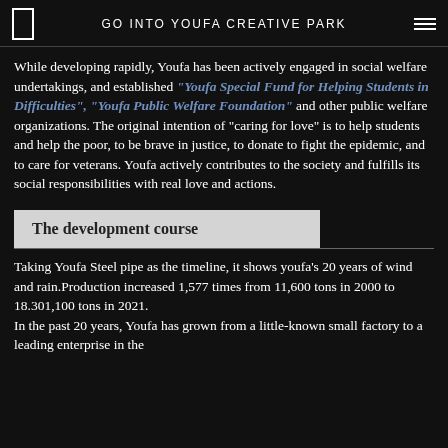GO INTO YOUFA CREATIVE PARK
While developing rapidly, Youfa has been actively engaged in social welfare undertakings, and established “Youfa Special Fund for Helping Students in Difficulties”, “Youfa Public Welfare Foundation” and other public welfare organizations. The original intention of "caring for love" is to help students and help the poor, to be brave in justice, to donate to fight the epidemic, and to care for veterans. Youfa actively contributes to the society and fulfills its social responsibilities with real love and actions.
The development course
Taking Youfa Steel pipe as the timeline, it shows youfa's 20 years of wind and rain.Production increased 1,577 times from 11,600 tons in 2000 to 18.301,100 tons in 2021.
In the past 20 years, Youfa has grown from a little-known small factory to a leading enterprise in the